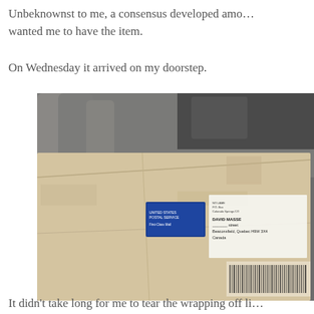Unbeknownst to me, a consensus developed among… wanted me to have the item.
On Wednesday it arrived on my doorstep.
[Figure (photo): A cardboard shipping box addressed to DAVID MASSE, street address in Beaconsfield, Quebec H9W 3X4, Canada, with a USPS label visible. The box is sitting among other items in what appears to be a home setting.]
It didn't take long for me to tear the wrapping off li…